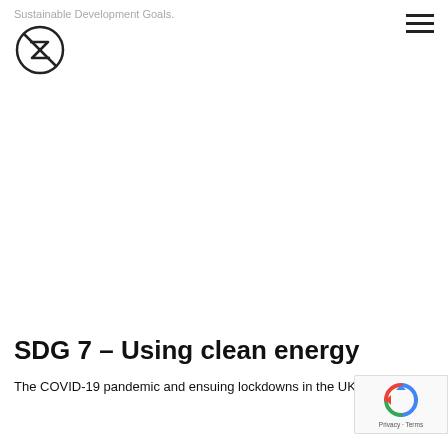Sustainable Development Goals.
[Figure (logo): Circular logo with stylized lightning bolt / arrow symbol inside a circle with a line through it]
SDG 7 – Using clean energy
The COVID-19 pandemic and ensuing lockdowns in the UK meant